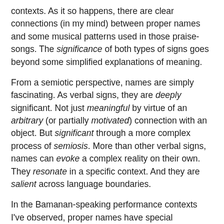contexts. As it so happens, there are clear connections (in my mind) between proper names and some musical patterns used in those praise-songs. The significance of both types of signs goes beyond some simplified explanations of meaning.
From a semiotic perspective, names are simply fascinating. As verbal signs, they are deeply significant. Not just meaningful by virtue of an arbitrary (or partially motivated) connection with an object. But significant through a more complex process of semiosis. More than other verbal signs, names can evoke a complex reality on their own. They resonate in a specific context. And they are salient across language boundaries.
In the Bamanan-speaking performance contexts I've observed, proper names have special significance.  For instance, those who are praised are those who have made a name for themselves. Simply calling out someone's last name is equivalent to praising that person. Mentioning a place name in a praise-singing performance is a way to refer to events which